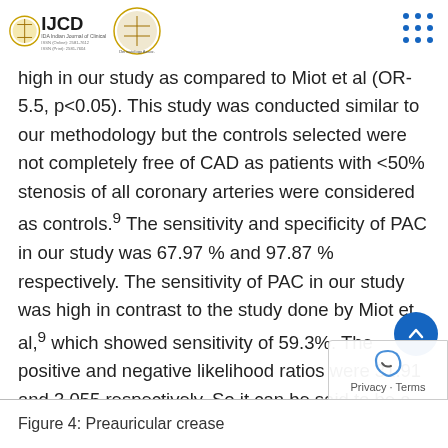IJCD Indian Journal of Clinical Dermatology
high in our study as compared to Miot et al (OR-5.5, p<0.05). This study was conducted similar to our methodology but the controls selected were not completely free of CAD as patients with <50% stenosis of all coronary arteries were considered as controls.9 The sensitivity and specificity of PAC in our study was 67.97 % and 97.87 % respectively. The sensitivity of PAC in our study was high in contrast to the study done by Miot et al,9 which showed sensitivity of 59.3%. The positive and negative likelihood ratios were 31.91 and 3.055 respectively. So it can be said to be a marker of CAD with a good diagnostic value.
Figure 4: Preauricular crease